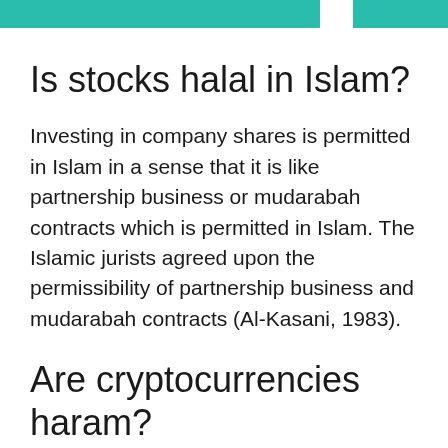Is stocks halal in Islam?
Investing in company shares is permitted in Islam in a sense that it is like partnership business or mudarabah contracts which is permitted in Islam. The Islamic jurists agreed upon the permissibility of partnership business and mudarabah contracts (Al-Kasani, 1983).
Are cryptocurrencies haram?
According to the fatwa, the use of Bitcoin and other such coins for investment and payment is considered haram. The reasons